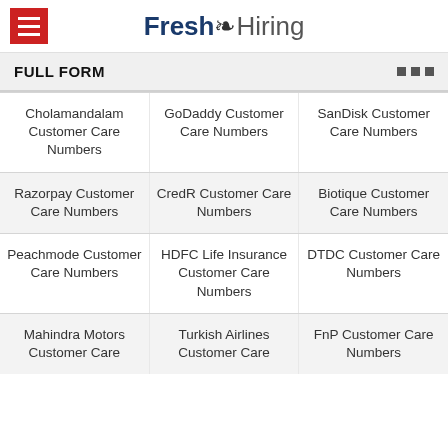Fresh Hiring
FULL FORM
Cholamandalam Customer Care Numbers
GoDaddy Customer Care Numbers
SanDisk Customer Care Numbers
Razorpay Customer Care Numbers
CredR Customer Care Numbers
Biotique Customer Care Numbers
Peachmode Customer Care Numbers
HDFC Life Insurance Customer Care Numbers
DTDC Customer Care Numbers
Mahindra Motors Customer Care
Turkish Airlines Customer Care
FnP Customer Care Numbers